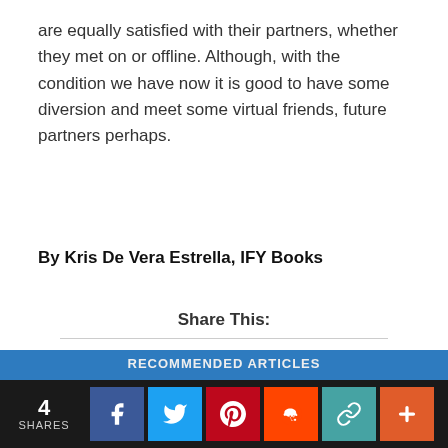are equally satisfied with their partners, whether they met on or offline. Although, with the condition we have now it is good to have some diversion and meet some virtual friends, future partners perhaps.
By Kris De Vera Estrella, IFY Books
Share This:
[Figure (infographic): Social share buttons: Facebook (blue), Twitter (light blue), Pinterest (red), Reddit (orange-red), WhatsApp (green), More/Plus (orange-red)]
4 SHARES with social share buttons: Facebook, Twitter, Pinterest, Reddit, Link, More